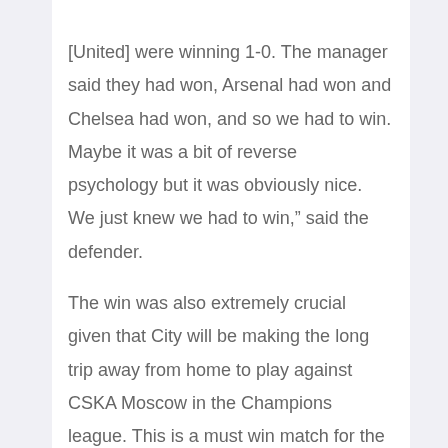[United] were winning 1-0. The manager said they had won, Arsenal had won and Chelsea had won, and so we had to win. Maybe it was a bit of reverse psychology but it was obviously nice. We just knew we had to win," said the defender.

The win was also extremely crucial given that City will be making the long trip away from home to play against CSKA Moscow in the Champions league. This is a must win match for the blues after the defeat to